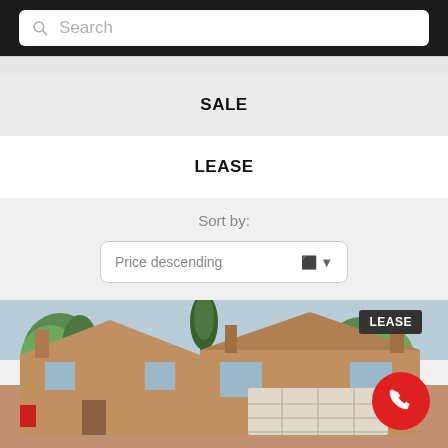Search
SALE
LEASE
Sort by:
Price descending
[Figure (photo): Exterior photo of a two-storey brick residential home with attached garage, trees in foreground, LEASE badge in upper right corner, red phone button in lower right corner]